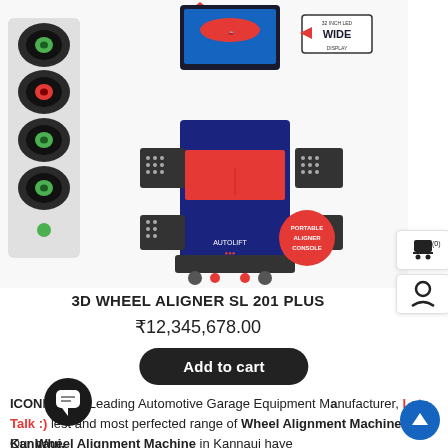[Figure (photo): 3D Wheel Aligner SL 201 Plus machine product photo with sensor heads, monitor display showing a red car, and a red portable aligner console badge. Left side shows close-up images of sensor heads with green lights. A '32 INCH LED WIDE DISPLAY' badge is visible on the upper right.]
3D WHEEL ALIGNER SL 201 PLUS
₹12,345,678.00
Add to cart
ICON being a Leading Automotive Garage Equipment Manufacturer, Lets Talk :) lest and most perfected range of Wheel Alignment Machine in Kannauj.
Our Wheel Alignment Machine in Kannauj have